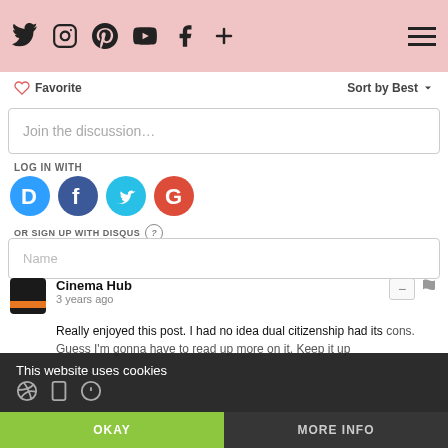Social media nav bar with Twitter, Instagram, Pinterest, YouTube, Facebook, Plus icons and hamburger menu
♡ Favorite   Sort by Best ▾
Join the discussion…
LOG IN WITH
[Figure (infographic): Social login buttons: Disqus (blue D), Facebook (blue f), Twitter (light blue bird), Google (red G)]
OR SIGN UP WITH DISQUS ?
Name
Cinema Hub
3 years ago
Really enjoyed this post. I had no idea dual citizenship had its cons. Guess I'm gonna have to read up more on it. Keep it up
This website uses cookies
OKAY
MORE INFO